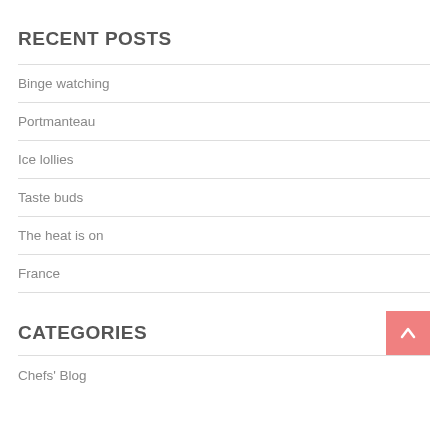RECENT POSTS
Binge watching
Portmanteau
Ice lollies
Taste buds
The heat is on
France
CATEGORIES
Chefs' Blog